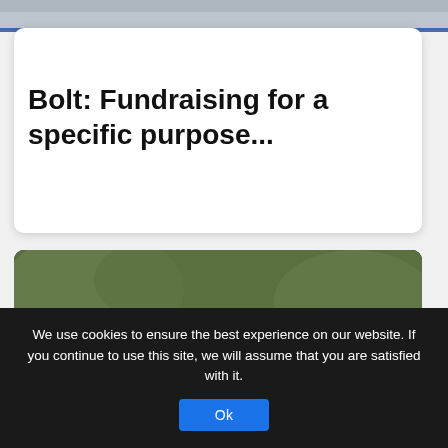[Figure (photo): Top image strip showing a blurred background scene, cropped at the top of the page]
Bolt: Fundraising for a specific purpose...
[Figure (photo): A person's hands on a car steering wheel, holding a smartphone displaying the Uber logo on a dark screen, inside a car dashboard setting]
We use cookies to ensure the best experience on our website. If you continue to use this site, we will assume that you are satisfied with it.